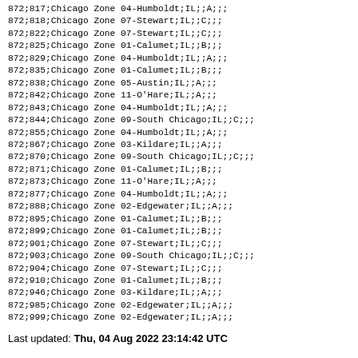872;817;Chicago Zone 04-Humboldt;IL;;A;;;
872;818;Chicago Zone 07-Stewart;IL;;C;;;
872;822;Chicago Zone 07-Stewart;IL;;C;;;
872;825;Chicago Zone 01-Calumet;IL;;B;;;
872;829;Chicago Zone 04-Humboldt;IL;;A;;;
872;835;Chicago Zone 01-Calumet;IL;;B;;;
872;838;Chicago Zone 05-Austin;IL;;A;;;
872;842;Chicago Zone 11-O'Hare;IL;;A;;;
872;843;Chicago Zone 04-Humboldt;IL;;A;;;
872;844;Chicago Zone 09-South Chicago;IL;;C;;;
872;855;Chicago Zone 04-Humboldt;IL;;A;;;
872;867;Chicago Zone 03-Kildare;IL;;A;;;
872;870;Chicago Zone 09-South Chicago;IL;;C;;;
872;871;Chicago Zone 01-Calumet;IL;;B;;;
872;873;Chicago Zone 11-O'Hare;IL;;A;;;
872;877;Chicago Zone 04-Humboldt;IL;;A;;;
872;888;Chicago Zone 02-Edgewater;IL;;A;;;
872;895;Chicago Zone 01-Calumet;IL;;B;;;
872;899;Chicago Zone 01-Calumet;IL;;B;;;
872;901;Chicago Zone 07-Stewart;IL;;C;;;
872;903;Chicago Zone 09-South Chicago;IL;;C;;;
872;904;Chicago Zone 07-Stewart;IL;;C;;;
872;910;Chicago Zone 01-Calumet;IL;;B;;;
872;946;Chicago Zone 03-Kildare;IL;;A;;;
872;985;Chicago Zone 02-Edgewater;IL;;A;;;
872;999;Chicago Zone 02-Edgewater;IL;;A;;;
Last updated: Thu, 04 Aug 2022 23:14:42 UTC